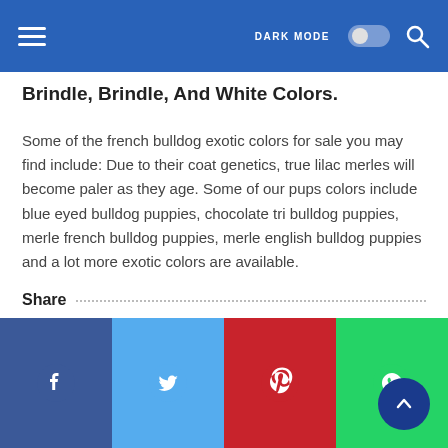DARK MODE  [toggle]  [search]
Brindle, Brindle, And White Colors.
Some of the french bulldog exotic colors for sale you may find include: Due to their coat genetics, true lilac merles will become paler as they age. Some of our pups colors include blue eyed bulldog puppies, chocolate tri bulldog puppies, merle french bulldog puppies, merle english bulldog puppies and a lot more exotic colors are available.
Share
[Figure (infographic): Social sharing buttons row: Facebook (dark blue), Twitter (light blue), Pinterest (red), WhatsApp (green), with a dark blue scroll-to-top button on the right]